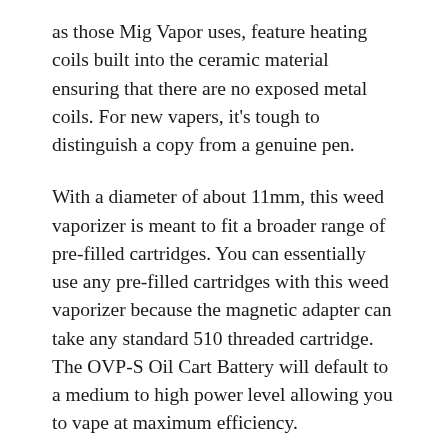as those Mig Vapor uses, feature heating coils built into the ceramic material ensuring that there are no exposed metal coils. For new vapers, it's tough to distinguish a copy from a genuine pen.
With a diameter of about 11mm, this weed vaporizer is meant to fit a broader range of pre-filled cartridges. You can essentially use any pre-filled cartridges with this weed vaporizer because the magnetic adapter can take any standard 510 threaded cartridge. The OVP-S Oil Cart Battery will default to a medium to high power level allowing you to vape at maximum efficiency.
We have a slender, CBD American Shaman Rechargeable Inhaler Battery that offers a consistent 8-second puff. We selected this Battery to work well with our CBD & Terpene Rich Hemp Oil Concentrate in a Clearomizer. Our CBD is the highest quality